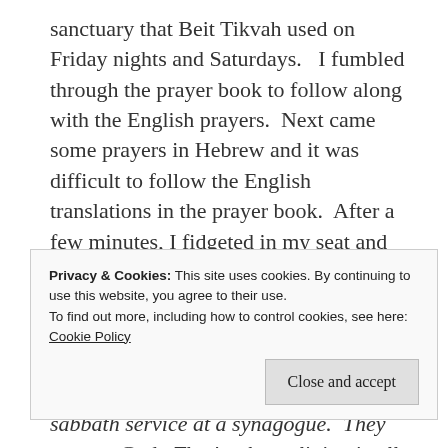sanctuary that Beit Tikvah used on Friday nights and Saturdays.   I fumbled through the prayer book to follow along with the English prayers.  Next came some prayers in Hebrew and it was difficult to follow the English translations in the prayer book.  After a few minutes, I fidgeted in my seat and grew bored.  It's all the same – praising God, giving thanks to God, Everything is God, God, God.  It really doesn't matter if I read along or not.
What did you expect, Fred?  This is the sabbath service at a synagogue.  They pray to God.  That's what religion is all about.  That's why you never attended services before.  You are an atheist.
Privacy & Cookies: This site uses cookies. By continuing to use this website, you agree to their use.
To find out more, including how to control cookies, see here: Cookie Policy